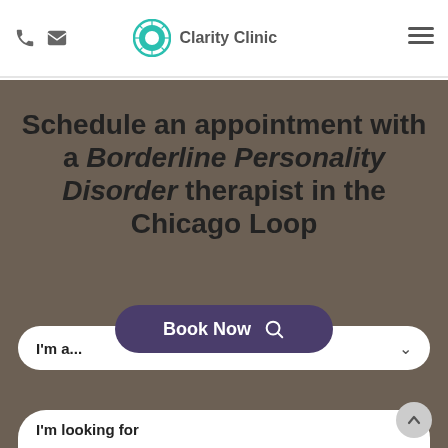Clarity Clinic
Schedule an appointment with a Borderline Personality Disorder therapist in the Chicago Loop
I'm a...
Book Now
I'm looking for